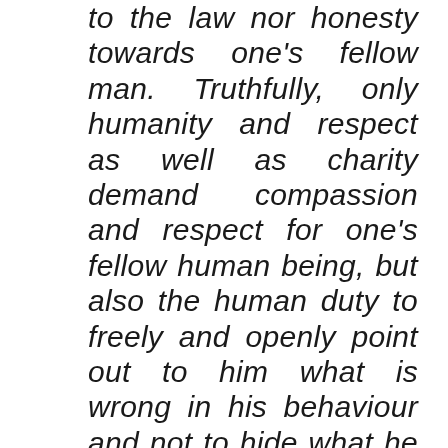to the law nor honesty towards one's fellow man. Truthfully, only humanity and respect as well as charity demand compassion and respect for one's fellow human being, but also the human duty to freely and openly point out to him what is wrong in his behaviour and not to hide what he should change in himself and in his behaviour for the better, good